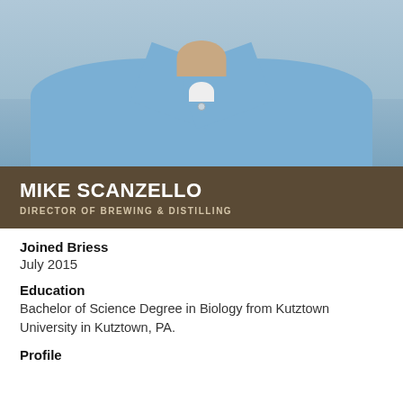[Figure (photo): Photo of Mike Scanzello wearing a light blue button-up shirt, partial torso and lower face visible, outdoor background]
MIKE SCANZELLO
DIRECTOR OF BREWING & DISTILLING
Joined Briess
July 2015
Education
Bachelor of Science Degree in Biology from Kutztown University in Kutztown, PA.
Profile